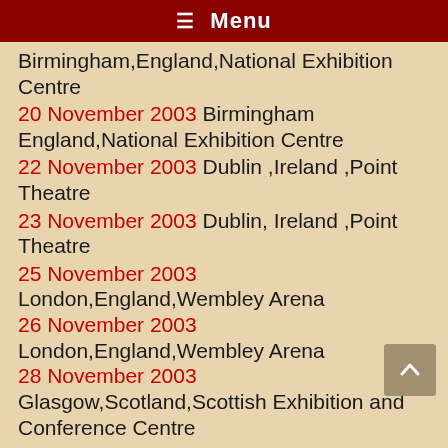≡ Menu
Birmingham,England,National Exhibition Centre
20 November 2003 Birmingham England,National Exhibition Centre
22 November 2003 Dublin ,Ireland ,Point Theatre
23 November 2003 Dublin, Ireland ,Point Theatre
25 November 2003 London,England,Wembley Arena
26 November 2003 London,England,Wembley Arena
28 November 2003 Glasgow,Scotland,Scottish Exhibition and Conference Centre
North America